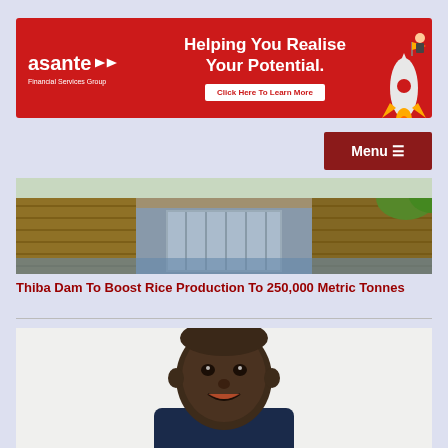[Figure (infographic): Asante Financial Services Group advertisement banner. Red background with white logo text 'asante' with arrow icon, tagline 'Helping You Realise Your Potential.' and a 'Click Here To Learn More' button, with a rocket illustration on the right.]
[Figure (screenshot): Menu navigation button with hamburger icon on dark red background, reading 'Menu']
[Figure (photo): Photo of Thiba Dam water infrastructure — concrete dam structure with water flowing through gates, green vegetation on right side.]
Thiba Dam To Boost Rice Production To 250,000 Metric Tonnes
[Figure (photo): Portrait photo of a smiling African man wearing a dark navy blue t-shirt, against a white/light background.]